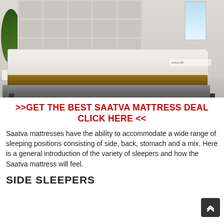[Figure (photo): Photo of a Saatva HD mattress on a grey upholstered bed frame with a tall tufted headboard, a green plant on the left, and a window on the upper right, in a light-colored bedroom setting.]
>>GET THE BEST SAATVA MATTRESS DEAL CLICK HERE <<
Saatva mattresses have the ability to accommodate a wide range of sleeping positions consisting of side, back, stomach and a mix. Here is a general introduction of the variety of sleepers and how the Saatva mattress will feel.
SIDE SLEEPERS